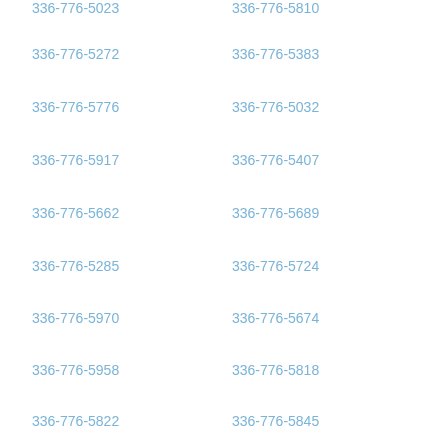336-776-5272
336-776-5383
336-776-5776
336-776-5032
336-776-5917
336-776-5407
336-776-5662
336-776-5689
336-776-5285
336-776-5724
336-776-5970
336-776-5674
336-776-5958
336-776-5818
336-776-5822
336-776-5845
336-776-5425
336-776-5280